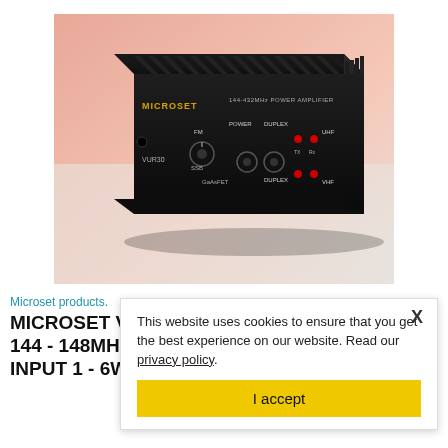[Figure (photo): Photo of a Microset VUR30 144-432MHz power amplifier — a black anodized aluminum enclosure with large heat sink fins on top and rear, front panel showing FM/SSB switch, POWER and DUPLEX knobs, TX/RX indicator LEDs, UHF and VHF labels, and GaAsFET label. The MICROSET logo and '144-432MHz POWER AMPLIFIER' text are visible on the front panel.]
Microset products.
MICROSET VUR30 POWER AMPLIFIER - 144 - 148MHZ FM, SSB, CW 430 - 440MHZ INPUT 1 - 6W (2M & 70CM) OUTPUT 30W
This website uses cookies to ensure that you get the best experience on our website. Read our privacy policy.